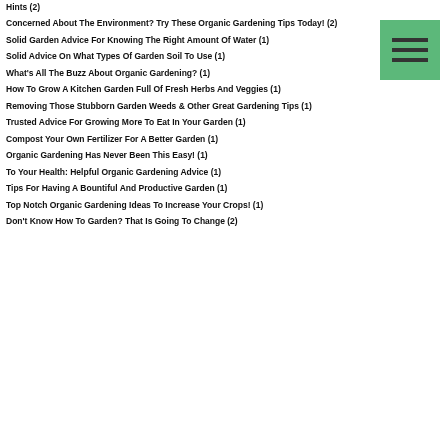Hints (2)
Concerned About The Environment? Try These Organic Gardening Tips Today! (2)
Solid Garden Advice For Knowing The Right Amount Of Water (1)
Solid Advice On What Types Of Garden Soil To Use (1)
What's All The Buzz About Organic Gardening? (1)
How To Grow A Kitchen Garden Full Of Fresh Herbs And Veggies (1)
Removing Those Stubborn Garden Weeds & Other Great Gardening Tips (1)
Trusted Advice For Growing More To Eat In Your Garden (1)
Compost Your Own Fertilizer For A Better Garden (1)
Organic Gardening Has Never Been This Easy! (1)
To Your Health: Helpful Organic Gardening Advice (1)
Tips For Having A Bountiful And Productive Garden (1)
Top Notch Organic Gardening Ideas To Increase Your Crops! (1)
Don't Know How To Garden? That Is Going To Change (2)
[Figure (other): Green hamburger menu button with three horizontal lines]